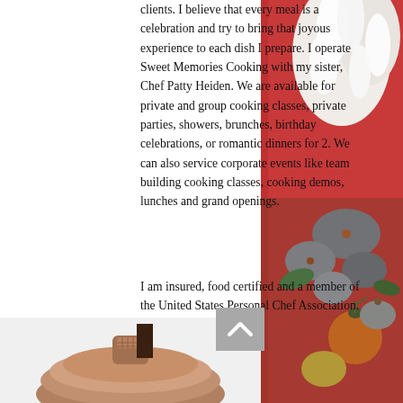clients. I believe that every meal is a celebration and try to bring that joyous experience to each dish I prepare. I operate Sweet Memories Cooking with my sister, Chef Patty Heiden. We are available for private and group cooking classes, private parties, showers, brunches, birthday celebrations, or romantic dinners for 2. We can also service corporate events like team building cooking classes, cooking demos, lunches and grand openings.
I am insured, food certified and a member of the United States Personal Chef Association.
[Figure (photo): Photo of colorful vegetables and flowers on the right side of the page — includes white flowers, blue/grey decorative squash, orange tomato, and other produce arranged on a wooden surface.]
[Figure (photo): Bottom portion shows a bronze/copper cooking pot lid viewed from above, centered at the bottom of the page.]